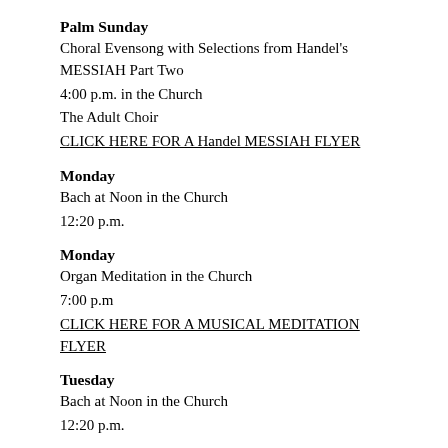Palm Sunday
Choral Evensong with Selections from Handel's MESSIAH Part Two
4:00 p.m. in the Church
The Adult Choir
CLICK HERE FOR A Handel MESSIAH FLYER
Monday
Bach at Noon in the Church
12:20 p.m.
Monday
Organ Meditation in the Church
7:00 p.m
CLICK HERE FOR A MUSICAL MEDITATION FLYER
Tuesday
Bach at Noon in the Church
12:20 p.m.